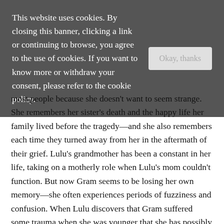This website uses cookies. By closing this banner, clicking a link or continuing to browse, you agree to the use of cookies. If you want to know more or withdraw your consent, please refer to the cookie policy.
most people because she doesn't want to seem strange. She remembers her sister's death and the happy life her family lived before the tragedy—and she also remembers each time they turned away from her in the aftermath of their grief. Lulu's grandmother has been a constant in her life, taking on a motherly role when Lulu's mom couldn't function. But now Gram seems to be losing her own memory—she often experiences periods of fuzziness and confusion. When Lulu discovers that Gram suffered some trauma when she was younger that she has possibly blocked out, she becomes sure that the key to restoring Gram's memory is by helping her get past that block. Of course, she can't come right out and tell Gram that's what she's doing, so things get complicated